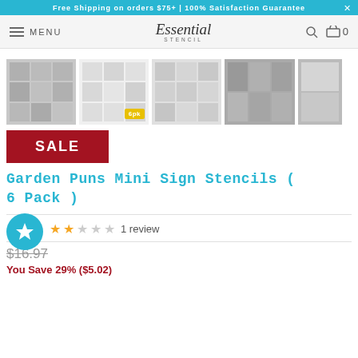Free Shipping on orders $75+ | 100% Satisfaction Guarantee
MENU | Essential Stencil
[Figure (photo): Product image thumbnails showing Garden Puns Mini Sign Stencils in various views including individual stencils, a 6-pack bundle, framed signs, and room display]
SALE
Garden Puns Mini Sign Stencils ( 6 Pack )
1 review
$16.97
You Save 29% ($5.02)